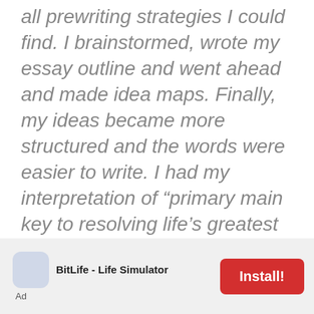all prewriting strategies I could find. I brainstormed, wrote my essay outline and went ahead and made idea maps. Finally, my ideas became more structured and the words were easier to write. I had my interpretation of “primary main key to resolving life’s greatest problem,” and I had my main reasons for understanding the essay. Though unsure of myself, I wrote all the ideas that came to my mind. When I finished the conclusion paragraph, I
[Figure (other): Advertisement banner for BitLife - Life Simulator app with an Install! button]